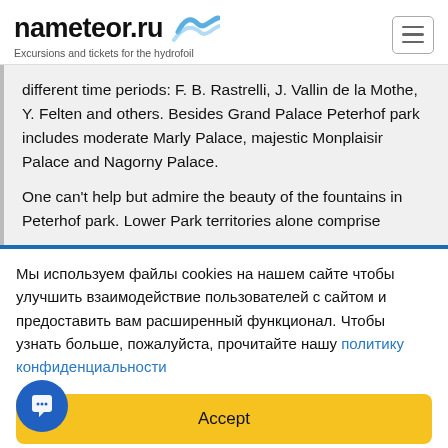nameteor.ru — Excursions and tickets for the hydrofoil
different time periods: F. B. Rastrelli, J. Vallin de la Mothe, Y. Felten and others. Besides Grand Palace Peterhof park includes moderate Marly Palace, majestic Monplaisir Palace and Nagorny Palace.

One can't help but admire the beauty of the fountains in Peterhof park. Lower Park territories alone comprise
Мы используем файлы cookies на нашем сайте чтобы улучшить взаимодействие пользователей с сайтом и предоставить вам расширенный функционал. Чтобы узнать больше, пожалуйста, прочитайте нашу политику конфиденциальности
Accept